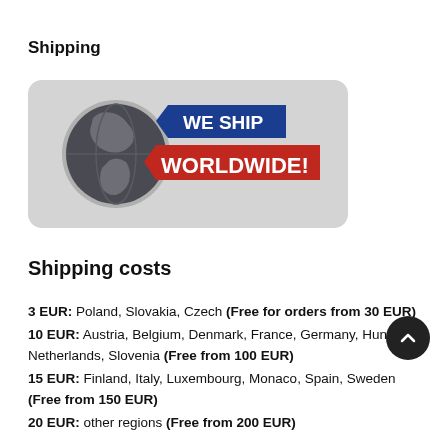Shipping
[Figure (illustration): Rounded rectangle banner with light grey background showing a globe icon on the left and two overlapping ribbon tags: a blue tag reading 'WE SHIP' and a red tag reading 'WORLDWIDE!']
Shipping costs
3 EUR: Poland, Slovakia, Czech (Free for orders from 30 EUR)
10 EUR: Austria, Belgium, Denmark, France, Germany, Hungary, Netherlands, Slovenia (Free from 100 EUR)
15 EUR: Finland, Italy, Luxembourg, Monaco, Spain, Sweden (Free from 150 EUR)
20 EUR: other regions (Free from 200 EUR)